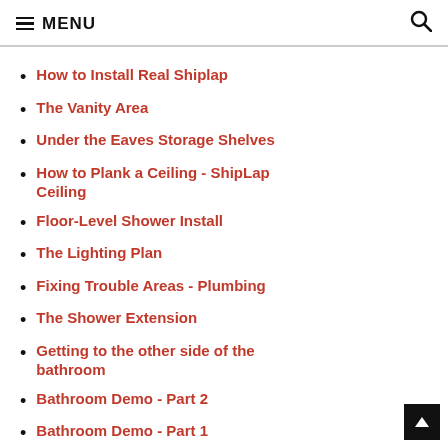MENU
How to Install Real Shiplap
The Vanity Area
Under the Eaves Storage Shelves
How to Plank a Ceiling - ShipLap Ceiling
Floor-Level Shower Install
The Lighting Plan
Fixing Trouble Areas - Plumbing
The Shower Extension
Getting to the other side of the bathroom
Bathroom Demo - Part 2
Bathroom Demo - Part 1